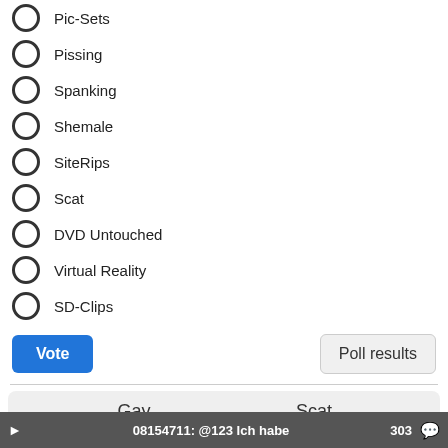Pic-Sets
Pissing
Spanking
Shemale
SiteRips
Scat
DVD Untouched
Virtual Reality
SD-Clips
Vote | Poll results
[Figure (screenshot): Two toggle switches labeled Gay and Scat, both in the ON position with green tracks]
08154711: @123 Ich habe 303